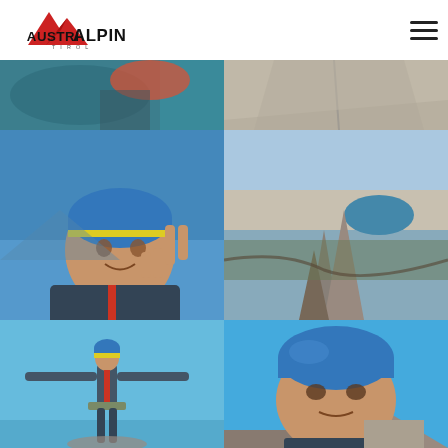[Figure (logo): AustriAlpin Tirol logo - red mountain peaks with bold black text]
[Figure (photo): Grid of 6 climbing/mountaineering photos: top-left shows climbing gear closeup, top-right shows rock face/crack, middle-left shows climber selfie with blue helmet making peace sign, middle-right shows aerial view of mountain spires and lake, bottom-left shows climber with arms spread wide celebrating on summit, bottom-right shows climber with blue helmet looking upward]